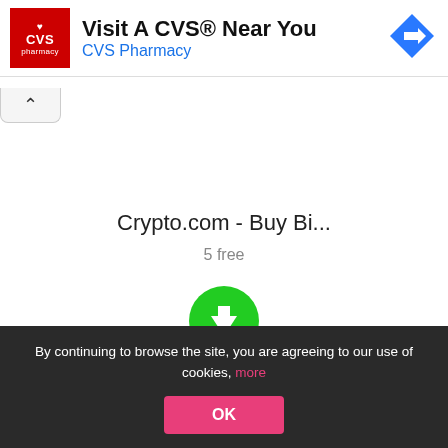[Figure (screenshot): CVS Pharmacy advertisement banner with red CVS logo, text 'Visit A CVS Near You' and 'CVS Pharmacy' in blue, and a blue direction sign icon on the right]
[Figure (screenshot): Collapse/close button with upward arrow chevron]
Crypto.com - Buy Bi...
5 free
[Figure (illustration): Green circular download button with white downward arrow]
[Figure (screenshot): AD badge label in gray]
By continuing to browse the site, you are agreeing to our use of cookies, more
[Figure (screenshot): Pink OK button in cookie consent bar]